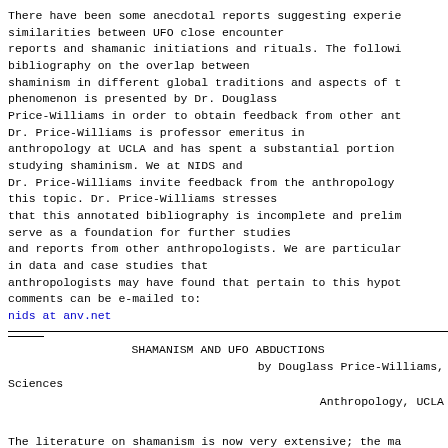There have been some anecdotal reports suggesting experie similarities between UFO close encounter
reports and shamanic initiations and rituals. The followi bibliography on the overlap between
shaminism in different global traditions and aspects of t phenomenon is presented by Dr. Douglass
Price-Williams in order to obtain feedback from other ant Dr. Price-Williams is professor emeritus in
anthropology at UCLA and has spent a substantial portion studying shaminism. We at NIDS and
Dr. Price-Williams invite feedback from the anthropology this topic. Dr. Price-Williams stresses
that this annotated bibliography is incomplete and prelim serve as a foundation for further studies
and reports from other anthropologists. We are particular in data and case studies that
anthropologists may have found that pertain to this hypot comments can be e-mailed to:
nids at anv.net
SHAMANISM AND UFO ABDUCTIONS
by Douglass Price-Williams,
Sciences
Anthropology, UCLA
The literature on shamanism is now very extensive; the ma material has been written by
anthropologists, and has been written from a number of di